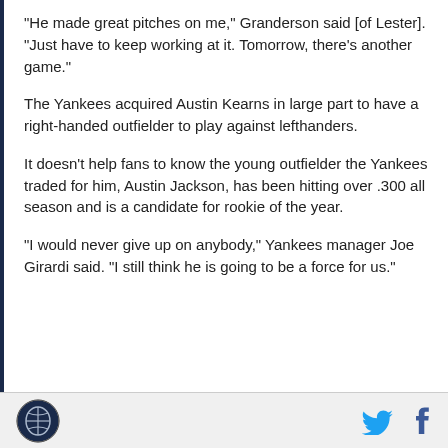"He made great pitches on me," Granderson said [of Lester]. "Just have to keep working at it. Tomorrow, there's another game."
The Yankees acquired Austin Kearns in large part to have a right-handed outfielder to play against lefthanders.
It doesn't help fans to know the young outfielder the Yankees traded for him, Austin Jackson, has been hitting over .300 all season and is a candidate for rookie of the year.
"I would never give up on anybody," Yankees manager Joe Girardi said. "I still think he is going to be a force for us."
SB Nation logo | Twitter icon | Facebook icon